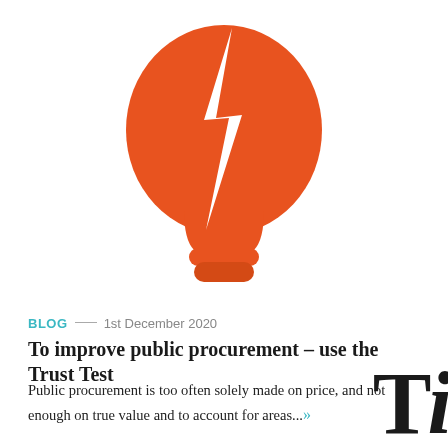[Figure (illustration): Orange broken light bulb icon with a white lightning bolt crack through the center, on a white background]
BLOG — 1st December 2020
To improve public procurement – use the Trust Test
Public procurement is too often solely made on price, and not enough on true value and to account for areas...»
[Figure (logo): Partial large bold letter 'T' visible in bottom-right corner, black serif font]